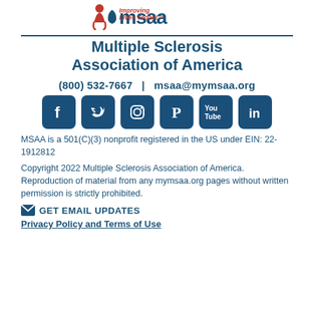[Figure (logo): MSAA logo with text 'Improving Lives Today!™' and a red/blue figure icon]
Multiple Sclerosis Association of America
(800) 532-7667  |  msaa@mymsaa.org
[Figure (infographic): Row of 6 social media icons: Facebook, Twitter, Instagram, Pinterest, YouTube, LinkedIn — dark blue rounded square buttons]
MSAA is a 501(C)(3) nonprofit registered in the US under EIN: 22-1912812
Copyright 2022 Multiple Sclerosis Association of America. Reproduction of material from any mymsaa.org pages without written permission is strictly prohibited.
✉ GET EMAIL UPDATES
Privacy Policy and Terms of Use